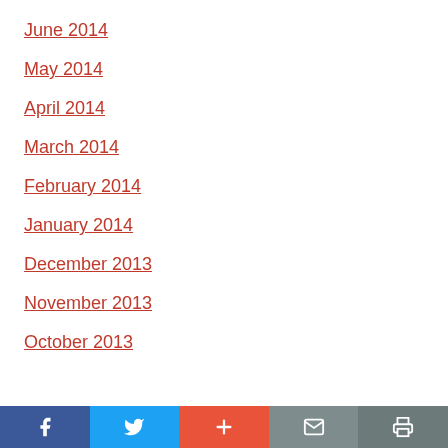June 2014
May 2014
April 2014
March 2014
February 2014
January 2014
December 2013
November 2013
October 2013
Facebook | Twitter | + | Email | Print